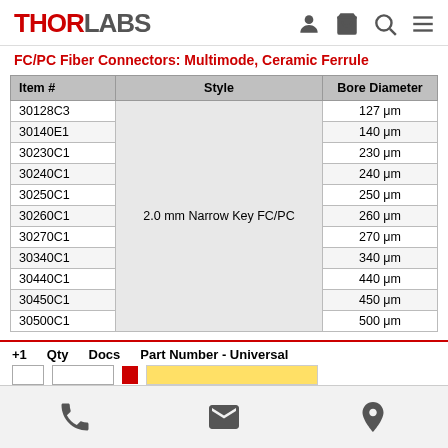THORLABS — navigation header with user, cart, search, menu icons
FC/PC Fiber Connectors: Multimode, Ceramic Ferrule
| Item # | Style | Bore Diameter |
| --- | --- | --- |
| 30128C3 | 2.0 mm Narrow Key FC/PC | 127 μm |
| 30140E1 | 2.0 mm Narrow Key FC/PC | 140 μm |
| 30230C1 | 2.0 mm Narrow Key FC/PC | 230 μm |
| 30240C1 | 2.0 mm Narrow Key FC/PC | 240 μm |
| 30250C1 | 2.0 mm Narrow Key FC/PC | 250 μm |
| 30260C1 | 2.0 mm Narrow Key FC/PC | 260 μm |
| 30270C1 | 2.0 mm Narrow Key FC/PC | 270 μm |
| 30340C1 | 2.0 mm Narrow Key FC/PC | 340 μm |
| 30440C1 | 2.0 mm Narrow Key FC/PC | 440 μm |
| 30450C1 | 2.0 mm Narrow Key FC/PC | 450 μm |
| 30500C1 | 2.0 mm Narrow Key FC/PC | 500 μm |
+1  Qty  Docs  Part Number - Universal